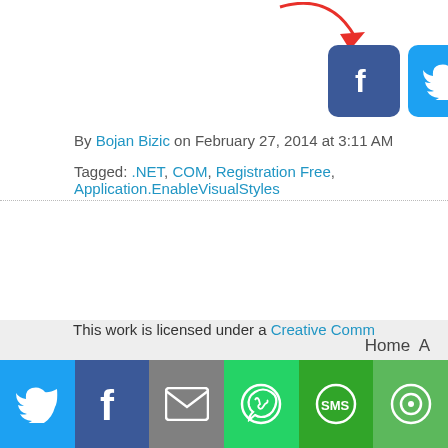[Figure (screenshot): Social media share icons row: Facebook (blue), Twitter (light blue), Pinterest (red), LinkedIn (blue), and a partially visible icon, with a red curved arrow pointing to them]
By Bojan Bizic on February 27, 2014 at 3:11 AM
Tagged: .NET, COM, Registration Free, Application.EnableVisualStyles
Home
Copy...
Powered...
This work is licensed under a Creative Comm...
[Figure (screenshot): Bottom share bar with Twitter, Facebook, Email, WhatsApp, SMS, and another icon buttons]